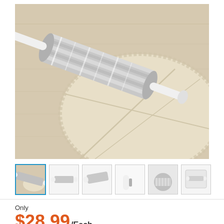[Figure (photo): A stainless steel rolling pin with white handles resting on rolled-out pie dough on a light wood surface. The dough is cut into sections.]
[Figure (photo): Six thumbnail images of the rolling pin product from various angles]
Only
$28.99/Each